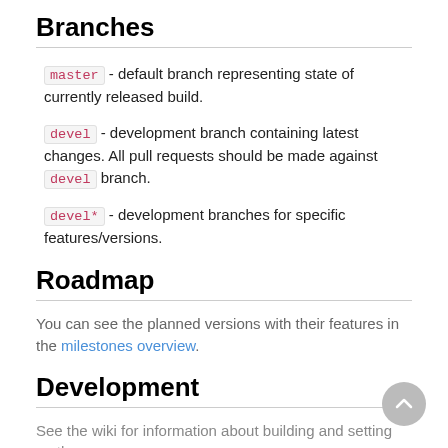Branches
master - default branch representing state of currently released build.
devel - development branch containing latest changes. All pull requests should be made against devel branch.
devel* - development branches for specific features/versions.
Roadmap
You can see the planned versions with their features in the milestones overview.
Development
See the wiki for information about building and setting up the...